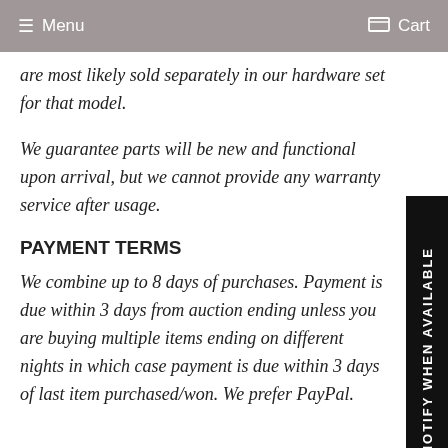Menu   Cart
are most likely sold separately in our hardware set for that model.
We guarantee parts will be new and functional upon arrival, but we cannot provide any warranty service after usage.
PAYMENT TERMS
We combine up to 8 days of purchases. Payment is due within 3 days from auction ending unless you are buying multiple items ending on different nights in which case payment is due within 3 days of last item purchased/won. We prefer PayPal.